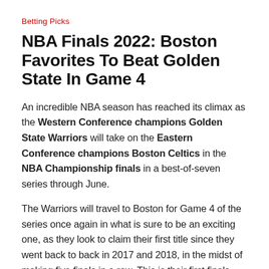Betting Picks
NBA Finals 2022: Boston Favorites To Beat Golden State In Game 4
An incredible NBA season has reached its climax as the Western Conference champions Golden State Warriors will take on the Eastern Conference champions Boston Celtics in the NBA Championship finals in a best-of-seven series through June.
The Warriors will travel to Boston for Game 4 of the series once again in what is sure to be an exciting one, as they look to claim their first title since they went back to back in 2017 and 2018, in the midst of making five finals in a row. This is their first finals since 2019, when they lost to Toronto Raptors.